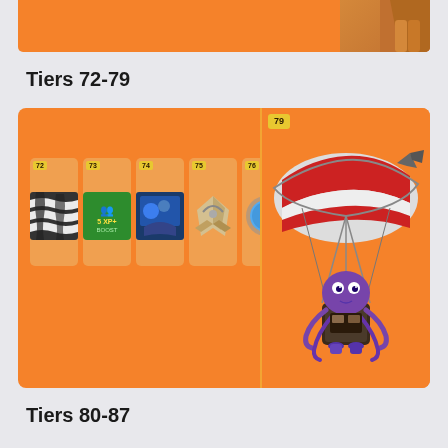[Figure (screenshot): Partially visible orange banner with a character figure at top of page]
Tiers 72-79
[Figure (screenshot): Orange Fortnite Battle Pass reward card showing Tiers 72-79 items: zebra wrap, XP boost, spray, glider piece, V-Bucks, music, heart spray in small tier boxes, and a large featured Tier 79 item showing a pirate parachute glider with octopus character]
Tiers 80-87